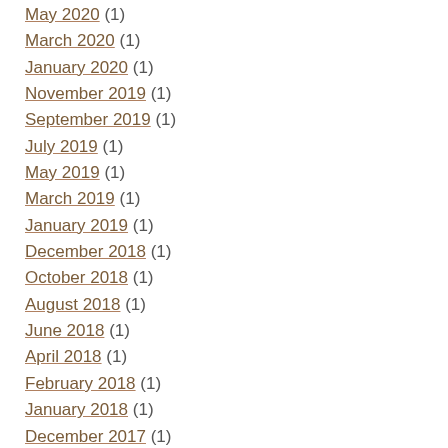May 2020 (1)
March 2020 (1)
January 2020 (1)
November 2019 (1)
September 2019 (1)
July 2019 (1)
May 2019 (1)
March 2019 (1)
January 2019 (1)
December 2018 (1)
October 2018 (1)
August 2018 (1)
June 2018 (1)
April 2018 (1)
February 2018 (1)
January 2018 (1)
December 2017 (1)
October 2017 (1)
July 2017 (1)